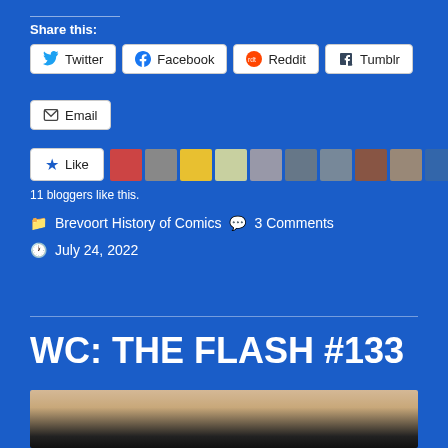Share this:
Twitter
Facebook
Reddit
Tumblr
Email
11 bloggers like this.
Brevoort History of Comics   3 Comments   July 24, 2022
WC: THE FLASH #133
[Figure (photo): Comic book cover image partially visible at bottom of page]